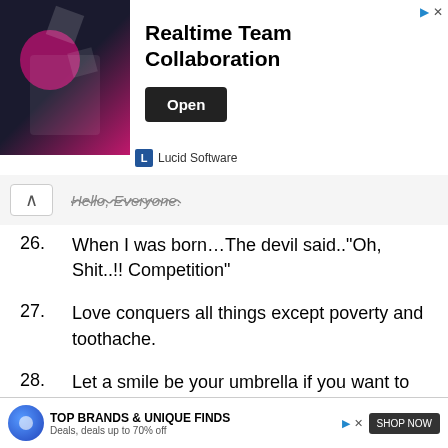[Figure (screenshot): Advertisement banner for Lucid Software - Realtime Team Collaboration with Open button]
Hello, Everyone.
26. When I was born…The devil said.. "Oh, Shit..!! Competition"
27. Love conquers all things except poverty and toothache.
28. Let a smile be your umbrella if you want to stand out in the rain like a grinning idiot.
29. A woman is like a tea bag you never
[Figure (screenshot): Bottom advertisement banner - TOP BRANDS & UNIQUE FINDS SHOP NOW]